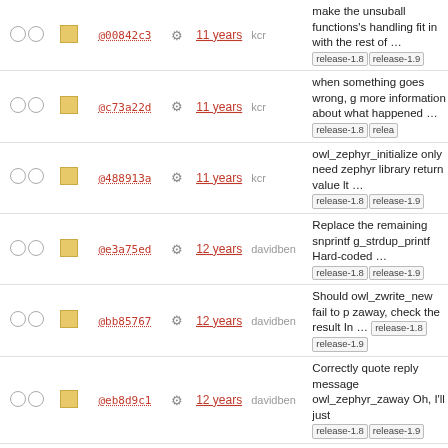|  |  | commit |  | age | author | description |
| --- | --- | --- | --- | --- | --- | --- |
| ○ ○ | ■ | @00842c3 | ⚙ | 11 years | kcr | make the unsuball functions's handling fit in with the rest of ... [release-1.8] [release-1.9] |
| ○ ○ | ■ | @c73a22d | ⚙ | 11 years | kcr | when something goes wrong, give more information about what happened ... [release-1.8] [release-1.9] |
| ○ ○ | ■ | @488913a | ⚙ | 11 years | kcr | owl_zephyr_initialize only needs zephyr library return value lt ... [release-1.8] [release-1.9] |
| ○ ○ | ■ | @e3a75ed | ⚙ | 12 years | davidben | Replace the remaining snprintf g_strdup_printf Hard-coded ... [release-1.8] [release-1.9] |
| ○ ○ | ■ | @bb85767 | ⚙ | 12 years | davidben | Should owl_zwrite_new fail to p zaway, check the result In ... [release-1.8] [release-1.9] |
| ○ ○ | ■ | @eb8d9c1 | ⚙ | 12 years | davidben | Correctly quote reply message owl_zephyr_zaway Oh, I'll just [release-1.8] [release-1.9] |
| ○ ○ | ■ | @8a97586 | ⚙ | 12 years | nelhage | Fix a typo in zephyr.c [release-1.8] [release-1.9] |
| ○ ○ | ■ | @3472845 | ⚙ | 12 years | andersk | Replace owl_sprintf with g_strdup_printf. Signed-off-by: ... [release-1.8] [release-1.9] |
| ○ ○ | ■ | @d4927a7 | ⚙ | 12 years | andersk | Replace owl_strdup with g_strd Signed-off-by: Anders Kaseorg [release-1.8] [release-1.9] |
| ○ ○ | ■ | @ddbbcffa | ⚙ | 12 years | andersk | Replace owl_free with g_free. Signed-off-by: Anders Kaseorg ... [release-1.8] [release-1.9] |
| ○ ○ | ■ | @35b6eb9 | ⚙ | 12 years | andersk | Replace owl_realloc with g_rena Signed-off-by: Anders Kaseorg |